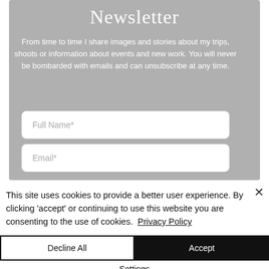Newsletter
From time to time I share images and stories about my trips, shoots or information about events and new work. You will never be bombarded with emails and can unsubscribe at any time.
Full Name*
Email*
This site uses cookies to provide a better user experience. By clicking 'accept' or continuing to use this website you are consenting to the use of cookies. Privacy Policy
Decline All
Accept
Settings